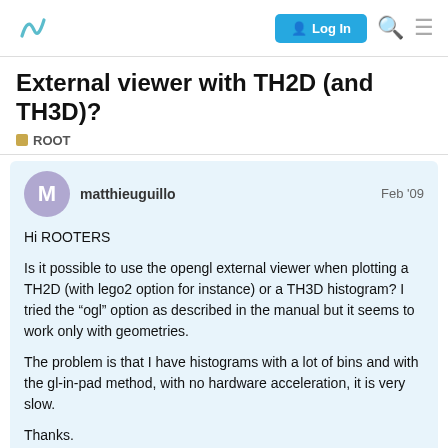Log In
External viewer with TH2D (and TH3D)?
ROOT
matthieuguillo Feb '09
Hi ROOTERS
Is it possible to use the opengl external viewer when plotting a TH2D (with lego2 option for instance) or a TH3D histogram? I tried the “ogl” option as described in the manual but it seems to work only with geometries.
The problem is that I have histograms with a lot of bins and with the gl-in-pad method, with no hardware acceleration, it is very slow.
Thanks.
1 / 5